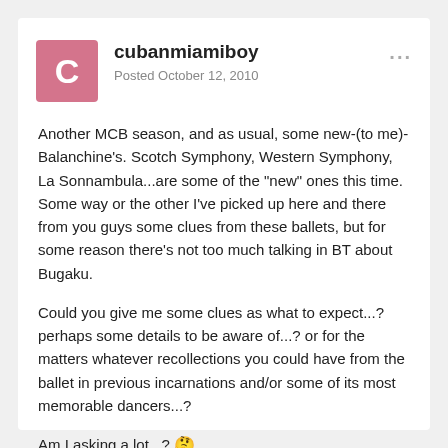cubanmiamiboy
Posted October 12, 2010
Another MCB season, and as usual, some new-(to me)-Balanchine's. Scotch Symphony, Western Symphony, La Sonnambula...are some of the "new" ones this time. Some way or the other I've picked up here and there from you guys some clues from these ballets, but for some reason there's not too much talking in BT about Bugaku.
Could you give me some clues as what to expect...? perhaps some details to be aware of...? or for the matters whatever recollections you could have from the ballet in previous incarnations and/or some of its most memorable dancers...?
Am I asking a lot...? 🤔
[Figure (illustration): A thank you sign held on a pole with a smiley face emoji at the bottom]